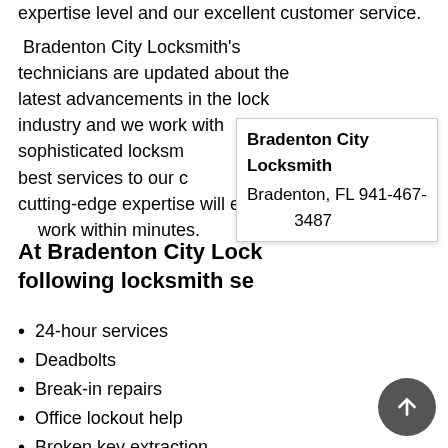expertise level and our excellent customer service.
Bradenton City Locksmith's technicians are updated about the latest advancements in the lock industry and we work with sophisticated locksmith tools and systems to offer the best services to our customers. Our cutting-edge expertise will enable us to complete the work within minutes.
Bradenton City Locksmith
Bradenton, FL 941-467-3487
At Bradenton City Locksmith, we offer the following locksmith services:
24-hour services
Deadbolts
Break-in repairs
Office lockout help
Broken key extraction
Advanced lock and key measures
Digital locks
Locks combination changing